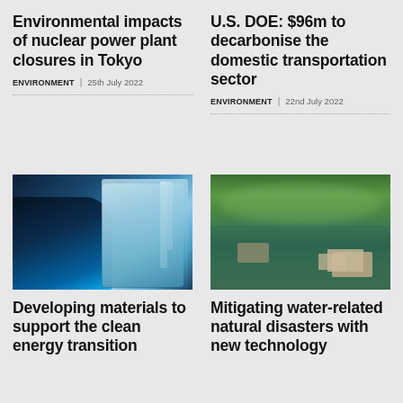Environmental impacts of nuclear power plant closures in Tokyo
Environment | 25th July 2022
U.S. DOE: $96m to decarbonise the domestic transportation sector
Environment | 22nd July 2022
[Figure (photo): Electric vehicle charging with wind turbines in background, blue tones]
[Figure (photo): Aerial view of flooded neighborhood with trees and houses surrounded by water]
Developing materials to support the clean energy transition
Mitigating water-related natural disasters with new technology